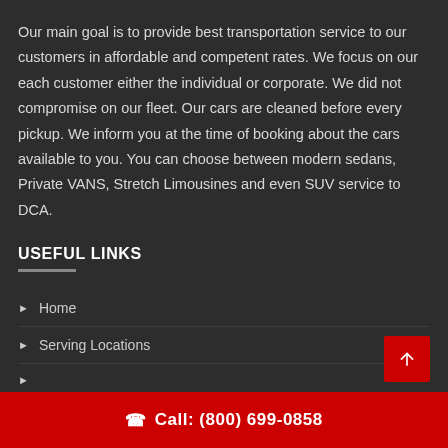Our main goal is to provide best transportation service to our customers in affordable and competent rates. We focus on our each customer either the individual or corporate. We did not compromise on our fleet. Our cars are cleaned before every pickup. We inform you at the time of booking about the cars available to you. You can choose between modern sedans, Private VANS, Stretch Limousines and even SUV service to DCA.
USEFUL LINKS
Home
Serving Locations
Call: (800) 699-0858